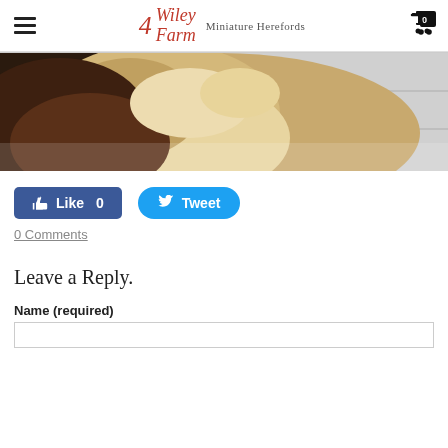4Wiley Farm Miniature Herefords
[Figure (photo): Close-up photo of a Miniature Hereford cattle — tan/cream fluffy fur with dark brown coloring visible on the left, photographed near white siding]
Like 0
Tweet
0 Comments
Leave a Reply.
Name (required)